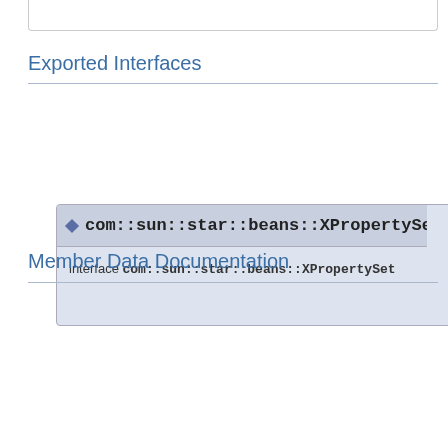Exported Interfaces
interface com::sun::star::beans::XPropertySet
Member Data Documentation
com::sun::star::util::Color BackColor  property
specifies the color of the background.